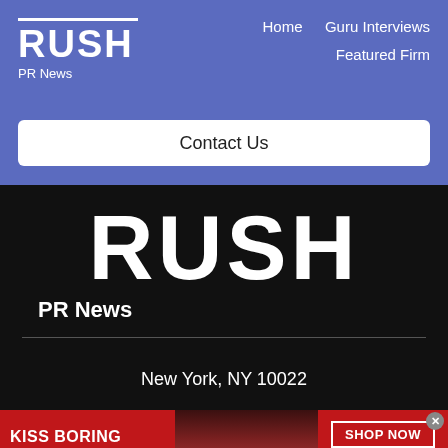RUSH PR News
Home  Guru Interviews  Featured Firm
Contact Us
[Figure (logo): RUSH PR News large logo on dark background]
New York, NY 10022
[Figure (photo): Macy's advertisement banner: KISS BORING LIPS GOODBYE with model photo and SHOP NOW button and Macy's star logo]